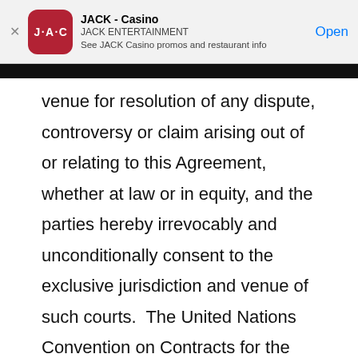[Figure (screenshot): JACK Casino app banner showing app icon, name 'JACK - Casino', developer 'JACK ENTERTAINMENT', description 'See JACK Casino promos and restaurant info', and an 'Open' button]
venue for resolution of any dispute, controversy or claim arising out of or relating to this Agreement, whether at law or in equity, and the parties hereby irrevocably and unconditionally consent to the exclusive jurisdiction and venue of such courts.  The United Nations Convention on Contracts for the International Sale of Goods does not and will not apply to this Agreement.  If any provision of this